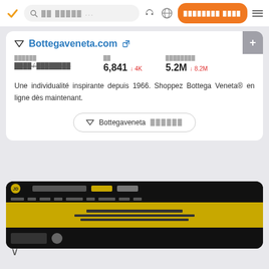[Figure (screenshot): Web application navigation bar with orange checkmark logo, search box with placeholder text, headphone icon, globe icon, orange button with text, and hamburger menu]
Bottegaveneta.com
| カテゴリ | 順位 | 月間訪問者数 |
| --- | --- | --- |
| ファッション / アパレル | 6,841 ↓ 4K | 5.2M ↓ 8.2M |
Une individualité inspirante depuis 1966. Shoppez Bottega Veneta® en ligne dès maintenant.
Bottegaveneta ######
[Figure (screenshot): Screenshot of a dark-themed website with yellow/gold banner section]